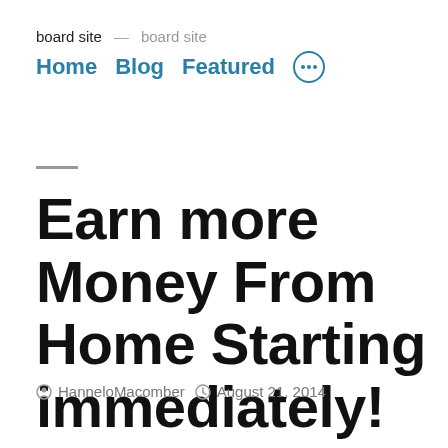board site — board site
Home  Blog  Featured
Earn more Money From Home Starting immediately!
HanneloMacomber  August 21, 2014